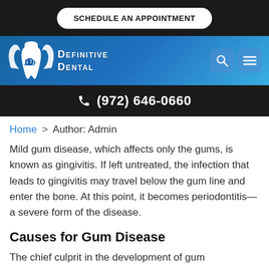SCHEDULE AN APPOINTMENT
[Figure (logo): Definitive Dental logo with wings and tooth icon, white on blue gradient background]
(972) 646-0660
Home > Author: Admin
Mild gum disease, which affects only the gums, is known as gingivitis. If left untreated, the infection that leads to gingivitis may travel below the gum line and enter the bone. At this point, it becomes periodontitis—a severe form of the disease.
Causes for Gum Disease
The chief culprit in the development of gum